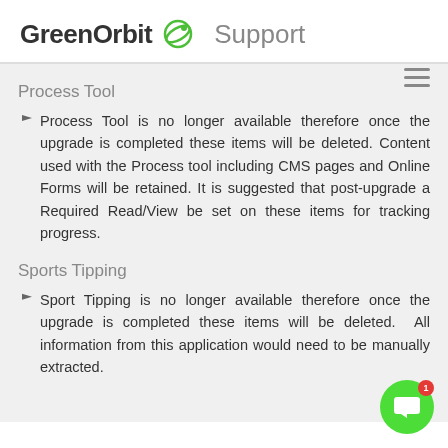GreenOrbit Support
Process Tool
Process Tool is no longer available therefore once the upgrade is completed these items will be deleted. Content used with the Process tool including CMS pages and Online Forms will be retained. It is suggested that post-upgrade a Required Read/View be set on these items for tracking progress.
Sports Tipping
Sport Tipping is no longer available therefore once the upgrade is completed these items will be deleted. All information from this application would need to be manually extracted.